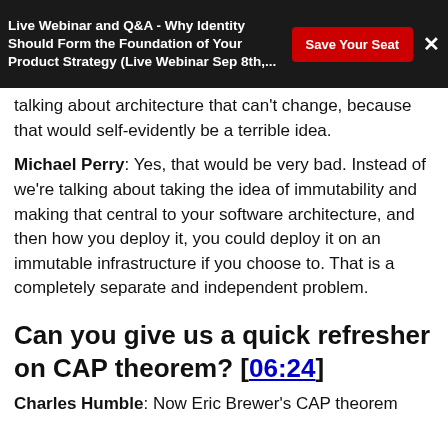Live Webinar and Q&A - Why Identity Should Form the Foundation of Your Product Strategy (Live Webinar Sep 8th,...
talking about architecture that can't change, because that would self-evidently be a terrible idea.
Michael Perry: Yes, that would be very bad. Instead of we're talking about taking the idea of immutability and making that central to your software architecture, and then how you deploy it, you could deploy it on an immutable infrastructure if you choose to. That is a completely separate and independent problem.
Can you give us a quick refresher on CAP theorem? [06:24]
Charles Humble: Now Eric Brewer's CAP theorem